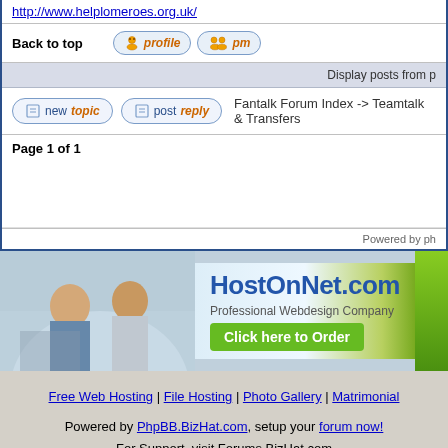http://www.helplomeroes.org.uk/
Back to top | profile | pm
Display posts from p
Fantalk Forum Index -> Teamtalk & Transfers
Page 1 of 1
Powered by ph
[Figure (photo): HostOnNet.com advertisement banner showing two people working at a computer with text: HostOnNet.com Professional Webdesign Company, Click here to Order button]
Free Web Hosting | File Hosting | Photo Gallery | Matrimonial
Powered by PhpBB.BizHat.com, setup your forum now! For Support, visit Forums.BizHat.com